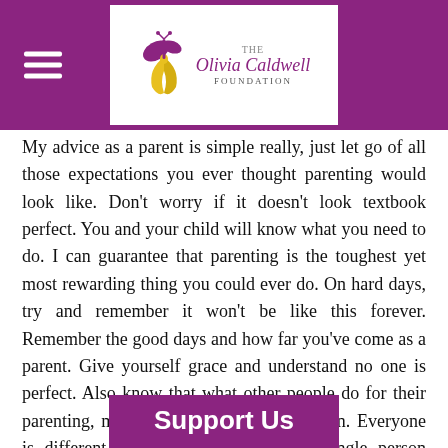The Olivia Caldwell Foundation
My advice as a parent is simple really, just let go of all those expectations you ever thought parenting would look like. Don't worry if it doesn't look textbook perfect. You and your child will know what you need to do. I can guarantee that parenting is the toughest yet most rewarding thing you could ever do. On hard days, try and remember it won't be like this forever. Remember the good days and how far you've come as a parent. Give yourself grace and understand no one is perfect. Also know that what other people do for their parenting, might not work in your situation. Everyone is different. Which means that every single person learns or grows differently.

The cool thing about parenting is, as long as you are doing your best, that's just how y... have to learn certain
Support Us